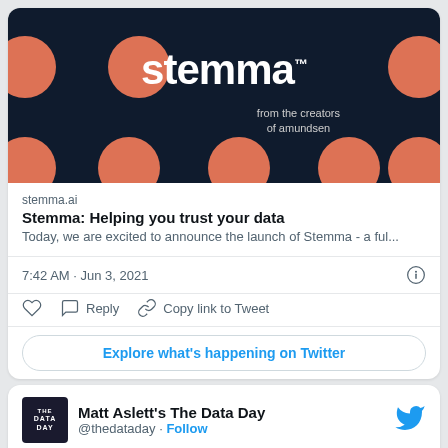[Figure (screenshot): Stemma banner with dark navy background, coral/salmon colored polka dots, and 'stemma' logo in white with 'from the creators of amundsen' subtitle]
stemma.ai
Stemma: Helping you trust your data
Today, we are excited to announce the launch of Stemma - a ful...
7:42 AM · Jun 3, 2021
Reply  Copy link to Tweet
Explore what's happening on Twitter
Matt Aslett's The Data Day
@thedataday · Follow
Google Cloud has announced the acquisition